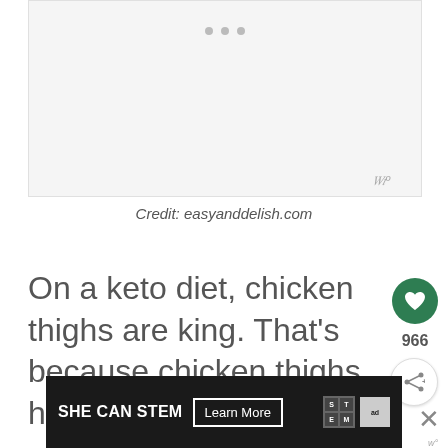[Figure (photo): Placeholder image area, light gray background with three dots at top center suggesting a loading carousel]
Credit: easyanddelish.com
On a keto diet, chicken thighs are king. That's because chicken thighs have more fat than chicken breasts.
[Figure (other): SHE CAN STEM advertisement banner with Learn More button, STEM logo grid, and Ad Council logo]